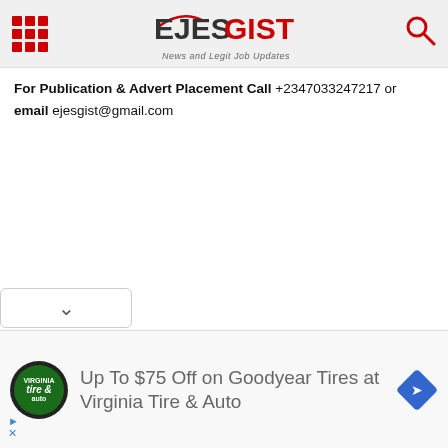EJESGIST - News and Legit Job Updates
For Publication & Advert Placement Call +2347033247217 or email ejesgist@gmail.com
[Figure (screenshot): Dropdown chevron UI element]
[Figure (infographic): Ad banner: Up To $75 Off on Goodyear Tires at Virginia Tire & Auto with tire & auto logo and navigation arrow icon]